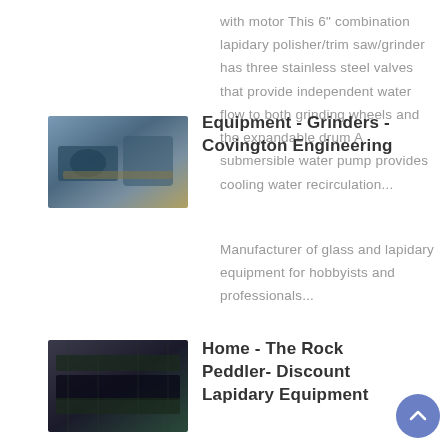with motor This 6" combination lapidary polisher/trim saw/grinder has three stainless steel valves that provide independent water flow to both grinding wheels and the expandable drum A submersible water pump provides cooling water recirculation...
[Figure (photo): Thumbnail image of industrial grinder equipment]
Equipment - Grinders - Covington Engineering
Manufacturer of glass and lapidary equipment for hobbyists and professionals...
[Figure (photo): Thumbnail image of rock lapidary equipment]
Home - The Rock Peddler- Discount Lapidary Equipment